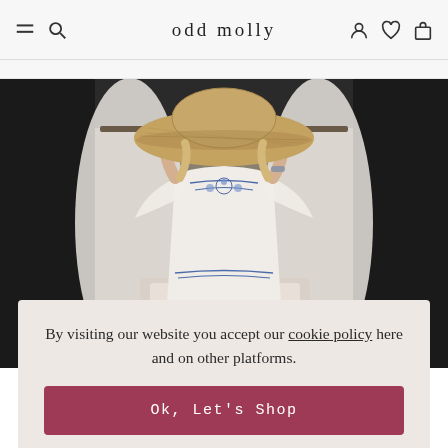odd molly
[Figure (photo): Woman in a white dress with blue floral embroidery, holding a wide-brim straw hat over her face, standing in front of white canopy drapes near a bed.]
By visiting our website you accept our cookie policy here and on other platforms.
Ok, Let's Shop